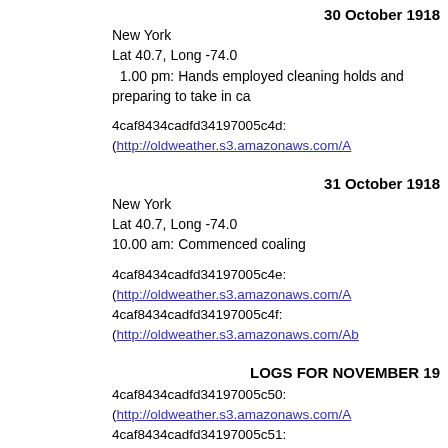30 October 1918
New York
Lat 40.7, Long -74.0
1.00 pm: Hands employed cleaning holds and preparing to take in ca
4caf8434cadfd34197005c4d: (http://oldweather.s3.amazonaws.com/A
31 October 1918
New York
Lat 40.7, Long -74.0
10.00 am: Commenced coaling
4caf8434cadfd34197005c4e: (http://oldweather.s3.amazonaws.com/A
4caf8434cadfd34197005c4f: (http://oldweather.s3.amazonaws.com/Ab
LOGS FOR NOVEMBER 19
4caf8434cadfd34197005c50: (http://oldweather.s3.amazonaws.com/A
4caf8434cadfd34197005c51: (http://oldweather.s3.amazonaws.com/A
4caf8434cadfd34197005c52: (http://oldweather.s3.amazonaws.com/A
4caf8434cadfd34197005c53: (http://oldweather.s3.amazonaws.com/A
4caf8434cadfd34197005c54: (http://oldweather.s3.amazonaws.com/A
In November 1918, the influenza pandemic re
On the 11th, 140 men were listed a
Two deaths were recorded.
4caf8434cadfd34197005c55: (http://oldweather.s3.amazonaws.com/A